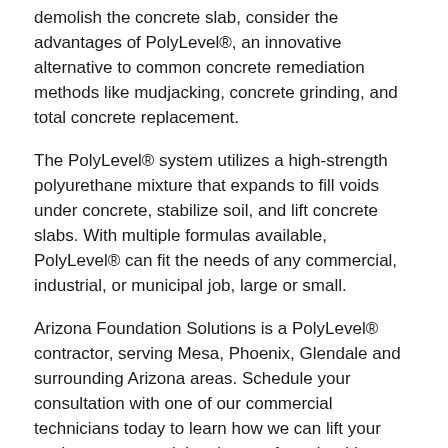demolish the concrete slab, consider the advantages of PolyLevel®, an innovative alternative to common concrete remediation methods like mudjacking, concrete grinding, and total concrete replacement.
The PolyLevel® system utilizes a high-strength polyurethane mixture that expands to fill voids under concrete, stabilize soil, and lift concrete slabs. With multiple formulas available, PolyLevel® can fit the needs of any commercial, industrial, or municipal job, large or small.
Arizona Foundation Solutions is a PolyLevel® contractor, serving Mesa, Phoenix, Glendale and surrounding Arizona areas. Schedule your consultation with one of our commercial technicians today to learn how we can lift your sunken concrete slab using our fast, durable, cost-effective solution.